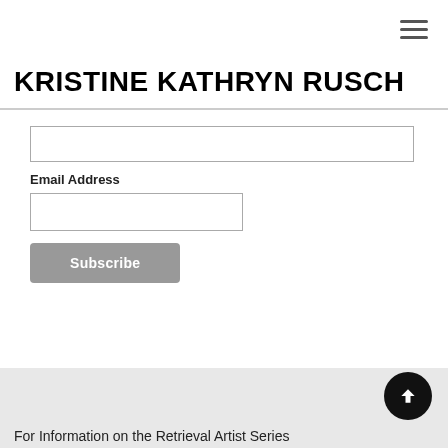KRISTINE KATHRYN RUSCH
[Figure (screenshot): Web form with two input fields (one wide text field, one narrower email address field) and a grey Subscribe button]
Email Address
For Information on the Retrieval Artist Series